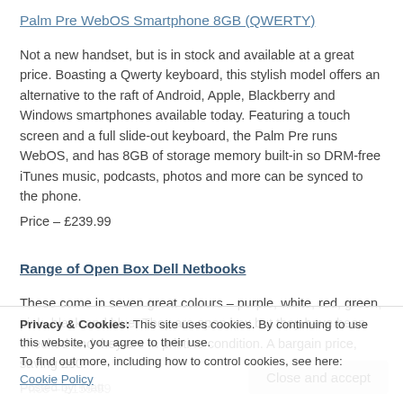Palm Pre WebOS Smartphone 8GB (QWERTY)
Not a new handset, but is in stock and available at a great price. Boasting a Qwerty keyboard, this stylish model offers an alternative to the raft of Android, Apple, Blackberry and Windows smartphones available today. Featuring a touch screen and a full slide-out keyboard, the Palm Pre runs WebOS, and has 8GB of storage memory built-in so DRM-free iTunes music, podcasts, photos and more can be synced to the phone.
Price – £239.99
Range of Open Box Dell Netbooks
These come in seven great colours – purple, white, red, green, pink, black and blue. They are open box but they have been checked and they are in pristine condition. A bargain price, saving £50!
Price – £159.99
Privacy & Cookies: This site uses cookies. By continuing to use this website, you agree to their use.
To find out more, including how to control cookies, see here: Cookie Policy
Posted by: Matt